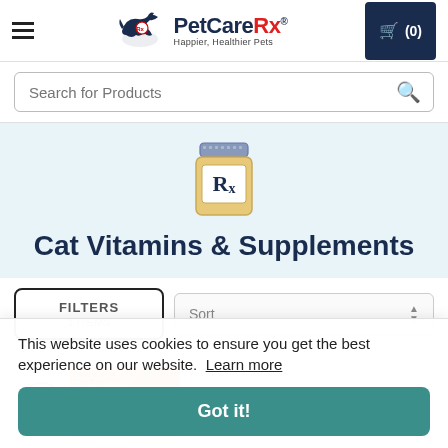[Figure (screenshot): PetCareRx website header with hamburger menu, logo (running dog with Rx badge), PetCareRx brand name in navy/red, tagline 'Happier, Healthier Pets', and dark navy shopping cart button showing (0) items]
Search for Products
[Figure (illustration): Rx prescription bottle icon illustration with blue lid, tan body, and Rx label]
Cat Vitamins & Supplements
FILTERS   1 ITEMS
Sort
[Figure (screenshot): HomeoPet Skin & Itch product card with cat image]
This website uses cookies to ensure you get the best experience on our website. Learn more
Got it!